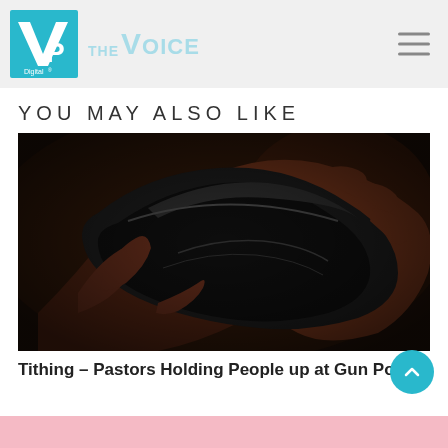VP Digital | THE VOICE
YOU MAY ALSO LIKE
[Figure (photo): Hands holding open an empty black leather wallet against a dark background]
Tithing – Pastors Holding People up at Gun Point